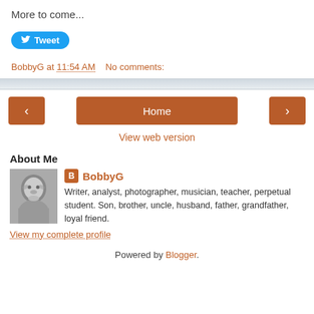More to come...
[Figure (other): Twitter Tweet button (blue pill-shaped button with bird icon and 'Tweet' text)]
BobbyG at 11:54 AM    No comments:
[Figure (other): Navigation bar with left arrow button, Home button, right arrow button]
View web version
About Me
[Figure (photo): Black and white profile photo of an older man with glasses]
BobbyG
Writer, analyst, photographer, musician, teacher, perpetual student. Son, brother, uncle, husband, father, grandfather, loyal friend.
View my complete profile
Powered by Blogger.